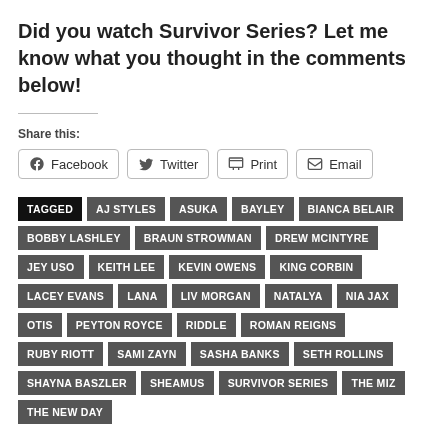Did you watch Survivor Series? Let me know what you thought in the comments below!
Share this:
Facebook | Twitter | Print | Email
TAGGED, AJ STYLES, ASUKA, BAYLEY, BIANCA BELAIR, BOBBY LASHLEY, BRAUN STROWMAN, DREW MCINTYRE, JEY USO, KEITH LEE, KEVIN OWENS, KING CORBIN, LACEY EVANS, LANA, LIV MORGAN, NATALYA, NIA JAX, OTIS, PEYTON ROYCE, RIDDLE, ROMAN REIGNS, RUBY RIOTT, SAMI ZAYN, SASHA BANKS, SETH ROLLINS, SHAYNA BASZLER, SHEAMUS, SURVIVOR SERIES, THE MIZ, THE NEW DAY